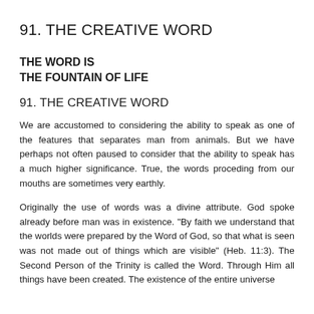91. THE CREATIVE WORD
THE WORD IS
THE FOUNTAIN OF LIFE
91. THE CREATIVE WORD
We are accustomed to considering the ability to speak as one of the features that separates man from animals. But we have perhaps not often paused to consider that the ability to speak has a much higher significance. True, the words proceding from our mouths are sometimes very earthly.
Originally the use of words was a divine attribute. God spoke already before man was in existence. "By faith we understand that the worlds were prepared by the Word of God, so that what is seen was not made out of things which are visible" (Heb. 11:3). The Second Person of the Trinity is called the Word. Through Him all things have been created. The existence of the entire universe